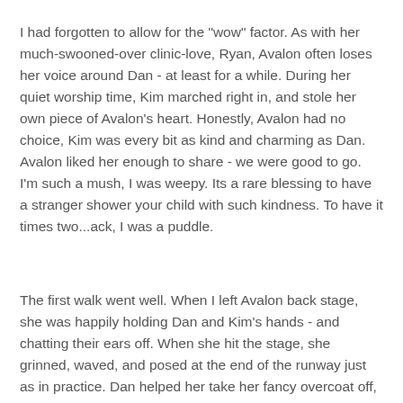I had forgotten to allow for the "wow" factor. As with her much-swooned-over clinic-love, Ryan, Avalon often loses her voice around Dan - at least for a while. During her quiet worship time, Kim marched right in, and stole her own piece of Avalon's heart. Honestly, Avalon had no choice, Kim was every bit as kind and charming as Dan. Avalon liked her enough to share - we were good to go. I'm such a mush, I was weepy. Its a rare blessing to have a stranger shower your child with such kindness. To have it times two...ack, I was a puddle.
The first walk went well. When I left Avalon back stage, she was happily holding Dan and Kim's hands - and chatting their ears off. When she hit the stage, she grinned, waved, and posed at the end of the runway just as in practice. Dan helped her take her fancy overcoat off, and then she twirled